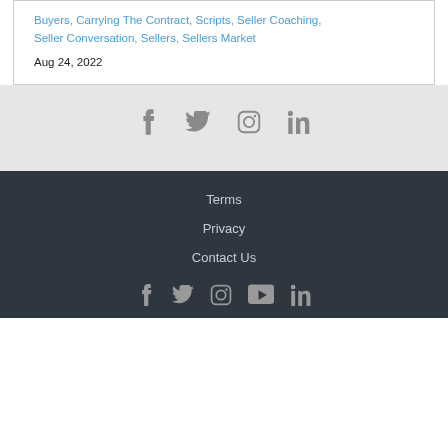Buyers, Carrying The Contract, Scripts, Seller Coaching, Seller Conversation, Sellers, Sellers Market
Aug 24, 2022
[Figure (infographic): Social media icons: Facebook, Twitter, Instagram, LinkedIn on light gray background]
Terms  Privacy  Contact Us
[Figure (infographic): Social media icons in footer: Facebook, Twitter, Instagram, YouTube, LinkedIn on dark background]